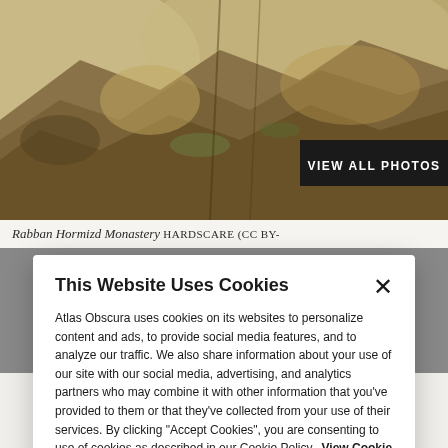[Figure (photo): Rocky mountainside with earth-toned rocky terrain, dusty trail visible, landscape photo of Rabban Hormizd Monastery area]
Rabban Hormizd Monastery HARDSCARE (CC BY-
This Website Uses Cookies
Atlas Obscura uses cookies on its websites to personalize content and ads, to provide social media features, and to analyze our traffic. We also share information about your use of our site with our social media, advertising, and analytics partners who may combine it with other information that you've provided to them or that they've collected from your use of their services. By clicking "Accept Cookies", you are consenting to use of cookies as described in our Cookie Policy. View Cookie Policy
Manage Preferences
Allow Cookies